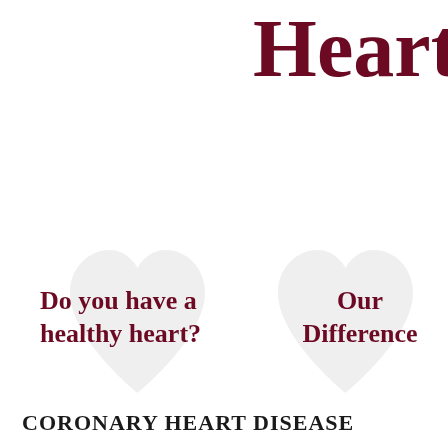Heart
Do you have a healthy heart?
Our Difference
CORONARY HEART DISEASE